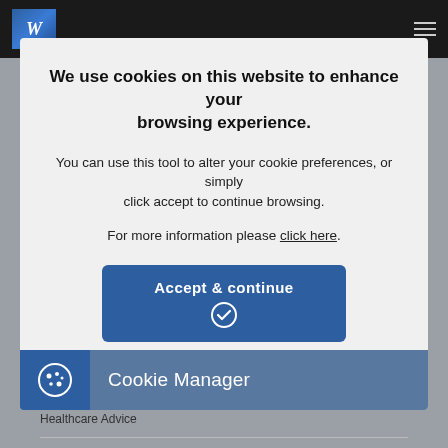[Figure (screenshot): Dark top navigation bar with a stylized W logo on the left and hamburger menu icon on the right]
We use cookies on this website to enhance your browsing experience.
You can use this tool to alter your cookie preferences, or simply click accept to continue browsing.
For more information please click here.
[Figure (other): Accept & continue button with checkmark icon, dark blue rounded rectangle]
[Figure (other): Cookie Manager bar with cookie icon on left dark blue background and text Cookie Manager on lighter blue background]
Healthcare Advice